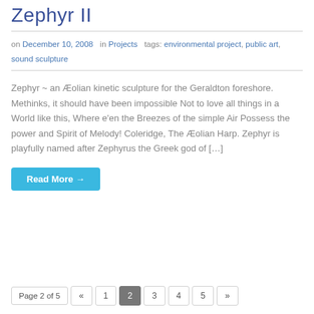Zephyr II
on December 10, 2008 in Projects tags: environmental project, public art, sound sculpture
Zephyr ~ an Æolian kinetic sculpture for the Geraldton foreshore. Methinks, it should have been impossible Not to love all things in a World like this, Where e'en the Breezes of the simple Air Possess the power and Spirit of Melody! Coleridge, The Æolian Harp. Zephyr is playfully named after Zephyrus the Greek god of […]
Read More →
Page 2 of 5 « 1 2 3 4 5 »